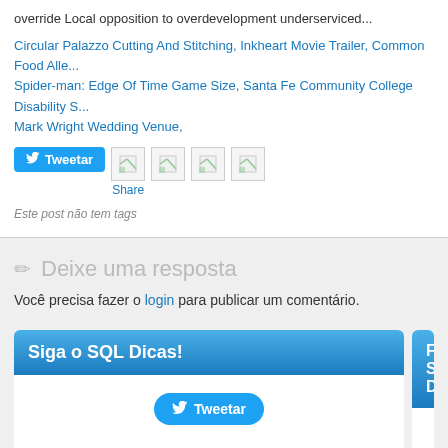override Local opposition to overdevelopment underserviced...
Circular Palazzo Cutting And Stitching, Inkheart Movie Trailer, Common Food Alle... Spider-man: Edge Of Time Game Size, Santa Fe Community College Disability S... Mark Wright Wedding Venue,
[Figure (screenshot): Twitter Tweetar button and share icons row]
Este post não tem tags
Deixe uma resposta
Você precisa fazer o login para publicar um comentário.
Siga o SQL Dicas!
Follow SQL Di...
[Figure (screenshot): Twitter Tweetar button inside white widget box]